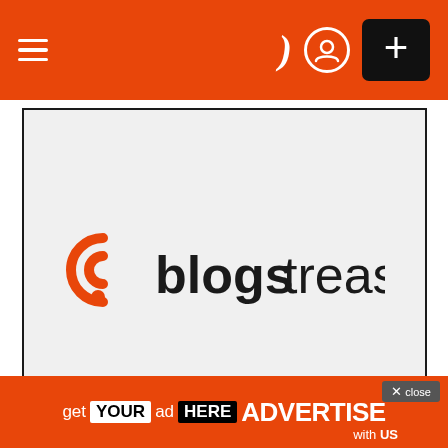navigation bar with hamburger menu, moon/dark mode icon, user icon, plus button
[Figure (logo): Blogs Treasure logo — orange stylized 'b' icon followed by bold 'blogs' and regular weight 'treasure' in dark text, on light gray background with dark border]
Shopping & Product Reviews
Five Tips to Prepare Yourself For The Football Premier League
[Figure (infographic): Advertisement banner: 'get YOUR ad HERE ADVERTISE with US' on orange background with close button]